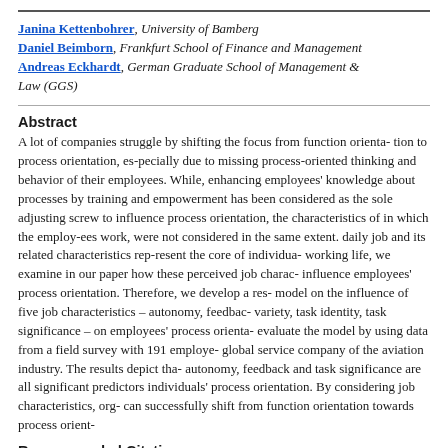Janina Kettenbohrer, University of Bamberg
Daniel Beimborn, Frankfurt School of Finance and Management
Andreas Eckhardt, German Graduate School of Management & Law (GGS)
Abstract
A lot of companies struggle by shifting the focus from function orienta- tion to process orientation, es-pecially due to missing process-oriented thinking and behavior of their employees. While, enhancing employees' knowledge about processes by training and empowerment has been considered as the sole adjusting screw to influence process orientation, the characteristics of the job in which the employ-ees work, were not considered in the same extent. As the daily job and its related characteristics rep-resent the core of individuals' working life, we examine in our paper how these perceived job charac-teristics influence employees' process orientation. Therefore, we develop a research model on the influence of five job characteristics – autonomy, feedback, skill variety, task identity, task significance – on employees' process orientation and evaluate the model by using data from a field survey with 191 employees of a global service company of the aviation industry. The results depict that autonomy, feedback and task significance are all significant predictors of individuals' process orientation. By considering job characteristics, organizations can successfully shift from function orientation towards process orient-
Recommended Citation